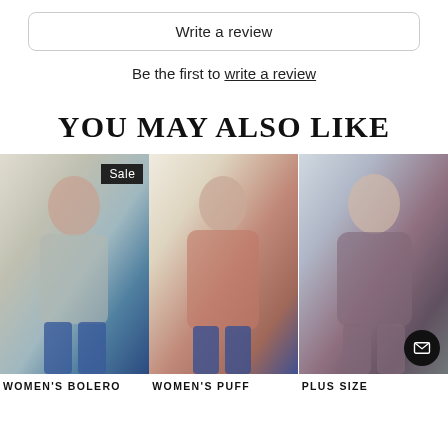Write a review
Be the first to write a review
YOU MAY ALSO LIKE
[Figure (photo): Woman wearing a light grey women's bolero long-sleeve crop top with blue jeans, indoor setting with plants. Sale badge visible.]
[Figure (photo): Woman wearing a pink/mauve women's puff sleeve blouse with ruffle hem and blue jeans, light studio background.]
[Figure (photo): Plus size woman wearing a grey/mauve short dress with long sleeves, indoor setting.]
WOMEN'S BOLERO
WOMEN'S PUFF
PLUS SIZE